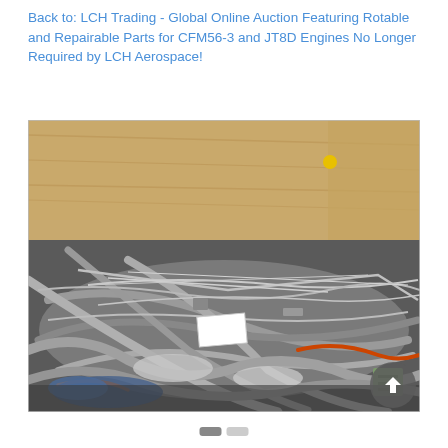Back to: LCH Trading - Global Online Auction Featuring Rotable and Repairable Parts for CFM56-3 and JT8D Engines No Longer Required by LCH Aerospace!
[Figure (photo): A wooden crate filled with a large pile of metal tubes, pipes, brackets, and miscellaneous aircraft engine parts including wiring and components, likely from CFM56-3 or JT8D engines. The crate walls are plywood.]